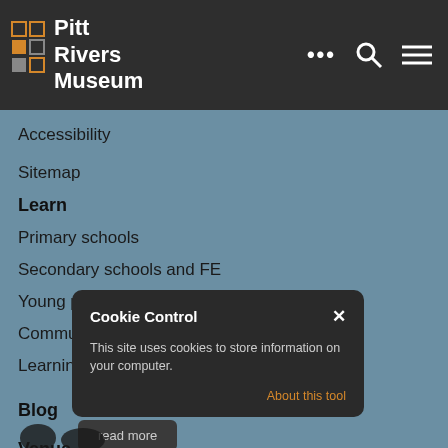Pitt Rivers Museum
Accessibility
Sitemap
Learn
Primary schools
Secondary schools and FE
Young people
Community partnerships
Learning resources
Blog
Venue
Cookie Control
This site uses cookies to store information on your computer.
About this tool
read more